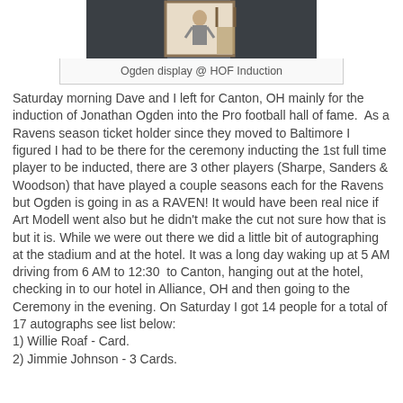[Figure (photo): Partial photo of Ogden display at HOF Induction, showing a framed image in a dark room setting]
Ogden display @ HOF Induction
Saturday morning Dave and I left for Canton, OH mainly for the induction of Jonathan Ogden into the Pro football hall of fame.  As a Ravens season ticket holder since they moved to Baltimore I figured I had to be there for the ceremony inducting the 1st full time player to be inducted, there are 3 other players (Sharpe, Sanders & Woodson) that have played a couple seasons each for the Ravens but Ogden is going in as a RAVEN! It would have been real nice if Art Modell went also but he didn't make the cut not sure how that is but it is. While we were out there we did a little bit of autographing at the stadium and at the hotel. It was a long day waking up at 5 AM driving from 6 AM to 12:30  to Canton, hanging out at the hotel, checking in to our hotel in Alliance, OH and then going to the Ceremony in the evening. On Saturday I got 14 people for a total of 17 autographs see list below:
1) Willie Roaf - Card.
2) Jimmie Johnson - 3 Cards.